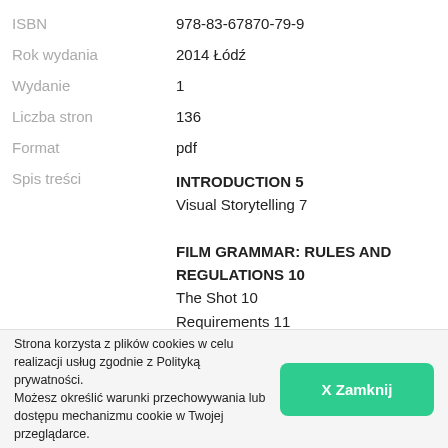| ISBN | 978-83-67870-79-9 |
| Rok wydania | 2014 Łódź |
| Wydanie | 1 |
| Liczba stron | 136 |
| Format | pdf |
| Spis treści | INTRODUCTION 5
Visual Storytelling 7

FILM GRAMMAR: RULES AND REGULATIONS 10
The Shot 10
Requirements 11
The Cut 24
FILM RHETORIC – DEVIATIONS FROM THE RULES 28
Figures of speech – Figures of film |
Strona korzysta z plików cookies w celu realizacji usług zgodnie z Polityką prywatności.
Możesz określić warunki przechowywania lub dostępu mechanizmu cookie w Twojej przeglądarce.